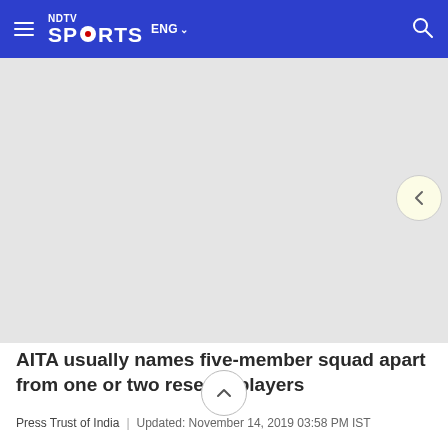NDTV Sports ENG
[Figure (photo): Gray placeholder image area for article photo]
AITA usually names five-member squad apart from one or two reserve players
Press Trust of India | Updated: November 14, 2019 03:58 PM IST